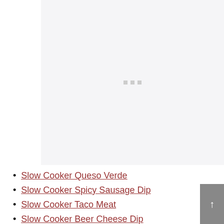[Figure (other): A large light gray placeholder image area with three small gray loading indicator squares centered within it]
Slow Cooker Queso Verde
Slow Cooker Spicy Sausage Dip
Slow Cooker Taco Meat
Slow Cooker Beer Cheese Dip